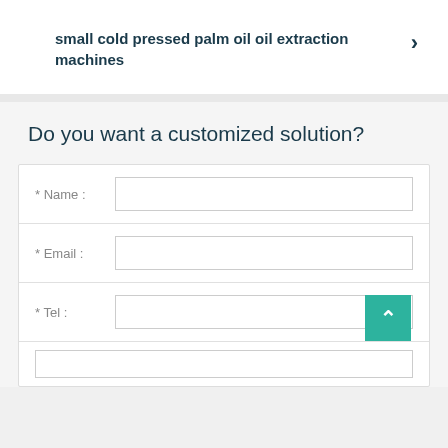small cold pressed palm oil oil extraction machines
Do you want a customized solution?
* Name :
* Email :
* Tel :